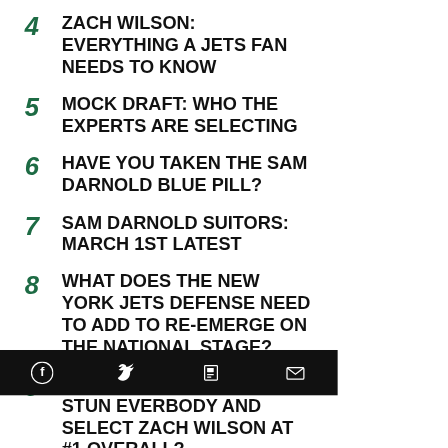4  ZACH WILSON: EVERYTHING A JETS FAN NEEDS TO KNOW
5  MOCK DRAFT: WHO THE EXPERTS ARE SELECTING
6  HAVE YOU TAKEN THE SAM DARNOLD BLUE PILL?
7  SAM DARNOLD SUITORS: MARCH 1ST LATEST
8  WHAT DOES THE NEW YORK JETS DEFENSE NEED TO ADD TO RE-EMERGE ON THE NATIONAL STAGE?
9  COULD THE JAGUARS STUN EVERBODY AND SELECT ZACH WILSON AT #1 OVERALL?
Social share icons: Facebook, Twitter, Flipboard, Email